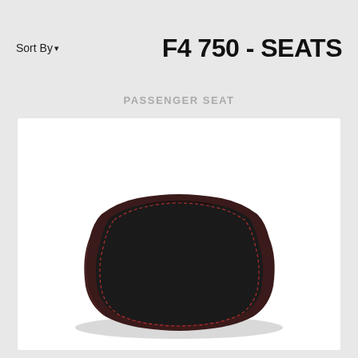Sort By ▾
F4 750 - SEATS
PASSENGER SEAT
[Figure (photo): Motorcycle passenger seat with black suede-like top surface, dark brown/burgundy leather sides and edges, and red stitching along the perimeter. The seat has a rounded rectangular shape tapering at the rear.]